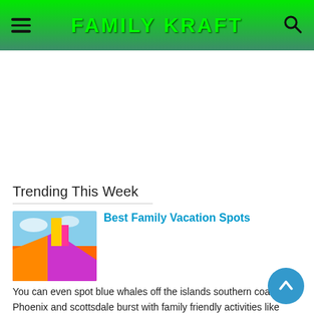FAMILY KRAFT
[Figure (other): Advertisement placeholder white space]
Trending This Week
[Figure (photo): Colorful water park scene with bright orange and purple slides]
Best Family Vacation Spots
You can even spot blue whales off the islands southern coast. Phoenix and scottsdale burst with family friendly activities like water parks...
[Figure (photo): Gundam robot paper craft model figure]
Paper Craft Easy Gundam Papercraft Tem